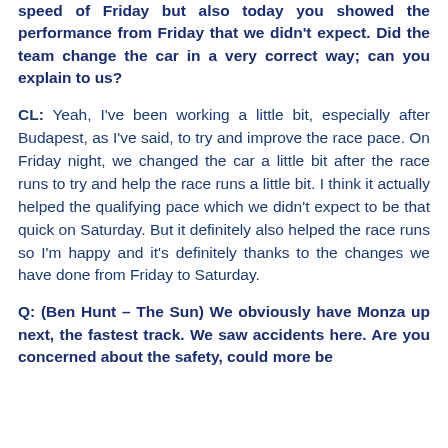speed of Friday but also today you showed the performance from Friday that we didn't expect. Did the team change the car in a very correct way; can you explain to us?
CL: Yeah, I've been working a little bit, especially after Budapest, as I've said, to try and improve the race pace. On Friday night, we changed the car a little bit after the race runs to try and help the race runs a little bit. I think it actually helped the qualifying pace which we didn't expect to be that quick on Saturday. But it definitely also helped the race runs so I'm happy and it's definitely thanks to the changes we have done from Friday to Saturday.
Q: (Ben Hunt – The Sun) We obviously have Monza up next, the fastest track. We saw accidents here. Are you concerned about the safety, could more be